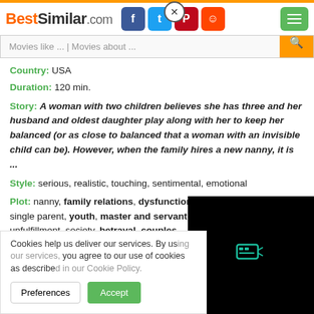BestSimilar.com
Movies like ... | Movies about ...
Country: USA
Duration: 120 min.
Story: A woman with two children believes she has three and her husband and oldest daughter play along with her to keep her balanced (or as close to balanced that a woman with an invisible child can be). However, when the family hires a new nanny, it is ...
Style: serious, realistic, touching, sentimental, emotional
Plot: nanny, family relations, dysfunctional family, mental illness, single parent, youth, master and servant, babies and infants, unfulfillment, society, betrayal, couples ...
Time: 90s, 20th century
Cookies help us deliver our services. By using our services, you agree to our use of cookies as described in our Cookie Policy.